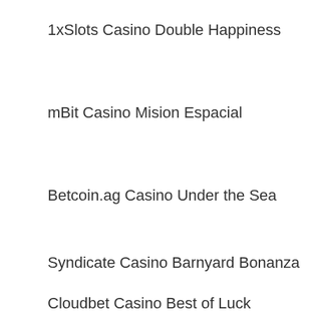1xSlots Casino Double Happiness
mBit Casino Mision Espacial
Betcoin.ag Casino Under the Sea
Syndicate Casino Barnyard Bonanza
Cloudbet Casino Best of Luck